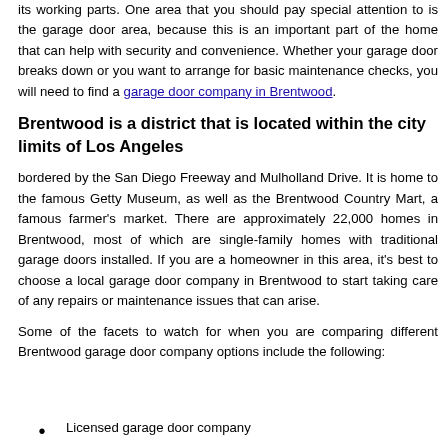its working parts. One area that you should pay special attention to is the garage door area, because this is an important part of the home that can help with security and convenience. Whether your garage door breaks down or you want to arrange for basic maintenance checks, you will need to find a garage door company in Brentwood.
Brentwood is a district that is located within the city limits of Los Angeles
bordered by the San Diego Freeway and Mulholland Drive. It is home to the famous Getty Museum, as well as the Brentwood Country Mart, a famous farmer's market. There are approximately 22,000 homes in Brentwood, most of which are single-family homes with traditional garage doors installed. If you are a homeowner in this area, it's best to choose a local garage door company in Brentwood to start taking care of any repairs or maintenance issues that can arise.
Some of the facets to watch for when you are comparing different Brentwood garage door company options include the following:
Licensed garage door company